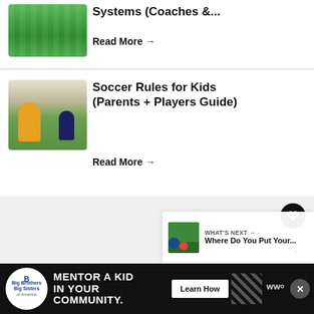[Figure (photo): Soccer field aerial view thumbnail]
Systems (Coaches &...
Read More →
[Figure (photo): Kids playing soccer on field, player in yellow jersey]
Soccer Rules for Kids (Parents + Players Guide)
Read More →
[Figure (other): Gray advertisement block with floating heart and share icons]
[Figure (infographic): What's Next panel - Where Do You Put Your...]
[Figure (infographic): Big Brothers Big Sisters ad banner - Mentor a Kid in Your Community, Learn How]